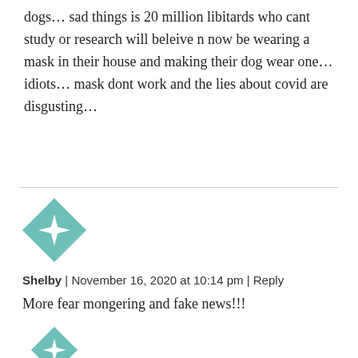dogs... sad things is 20 million libitards who cant study or research will beleive n now be wearing a mask in their house and making their dog wear one... idiots... mask dont work and the lies about covid are disgusting...
[Figure (illustration): Teal and white geometric quilt-pattern avatar icon]
Shelby | November 16, 2020 at 10:14 pm | Reply
More fear mongering and fake news!!!
[Figure (illustration): Teal and white geometric quilt-pattern avatar icon]